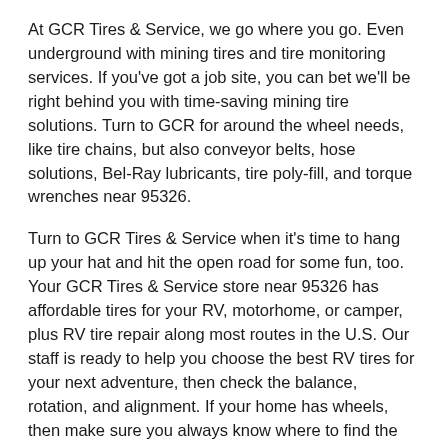At GCR Tires & Service, we go where you go. Even underground with mining tires and tire monitoring services. If you've got a job site, you can bet we'll be right behind you with time-saving mining tire solutions. Turn to GCR for around the wheel needs, like tire chains, but also conveyor belts, hose solutions, Bel-Ray lubricants, tire poly-fill, and torque wrenches near 95326.
Turn to GCR Tires & Service when it's time to hang up your hat and hit the open road for some fun, too. Your GCR Tires & Service store near 95326 has affordable tires for your RV, motorhome, or camper, plus RV tire repair along most routes in the U.S. Our staff is ready to help you choose the best RV tires for your next adventure, then check the balance, rotation, and alignment. If your home has wheels, then make sure you always know where to find the nearest GCR Tires & Service store. We'll help you make miles of memories with affordable RV tires and maintenance you trust.
When buying affordable tires for commercial vehicles, few other tire companies offer the same variety of tires and services as GCR. Got a pickup truck that needs a new set of tires? A flatbed in need of new drive tires? Some of the best tires for a tractor? Compare